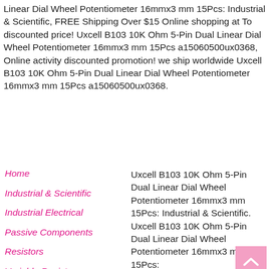Linear Dial Wheel Potentiometer 16mmx3 mm 15Pcs: Industrial & Scientific, FREE Shipping Over $15 Online shopping at To discounted price! Uxcell B103 10K Ohm 5-Pin Dual Linear Dial Wheel Potentiometer 16mmx3 mm 15Pcs a15060500ux0368, Online activity discounted promotion! we ship worldwide Uxcell B103 10K Ohm 5-Pin Dual Linear Dial Wheel Potentiometer 16mmx3 mm 15Pcs a15060500ux0368.
Home
Industrial & Scientific
Industrial Electrical
Passive Components
Resistors
Variable Resistors
Uxcell B103 10K Ohm 5-Pin Dual Linear Dial Wheel Potentiometer 16mmx3 mm 15Pcs: Industrial & Scientific. Uxcell B103 10K Ohm 5-Pin Dual Linear Dial Wheel Potentiometer 16mmx3 mm 15Pcs: